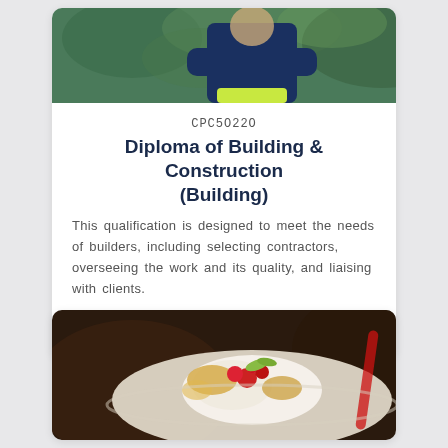[Figure (photo): Photo of a person standing with arms crossed, wearing a dark blue jacket and bright green/yellow pants, outdoors with green foliage background. Only the torso and arms are visible.]
CPC50220
Diploma of Building & Construction (Building)
This qualification is designed to meet the needs of builders, including selecting contractors, overseeing the work and its quality, and liaising with clients.
74 Weeks Training
[Figure (photo): Close-up photo of food — appears to be pastry or dessert items with cream, raspberries or red berries, and a red sauce or decoration on a white plate. Dark blurred background.]